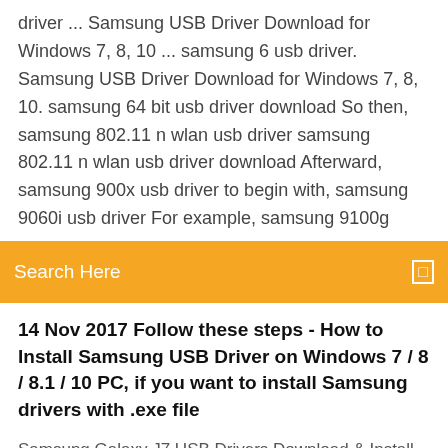driver ... Samsung USB Driver Download for Windows 7, 8, 10 ... samsung 6 usb driver. Samsung USB Driver Download for Windows 7, 8, 10. samsung 64 bit usb driver download So then, samsung 802.11 n wlan usb driver samsung 802.11 n wlan usb driver download Afterward, samsung 900x usb driver to begin with, samsung 9060i usb driver For example, samsung 9100g
[Figure (other): Orange search bar with text 'Search Here' and a small white icon on the right]
14 Nov 2017 Follow these steps - How to Install Samsung USB Driver on Windows 7 / 8 / 8.1 / 10 PC, if you want to install Samsung drivers with .exe file
Samsung Galaxy J7 USB Drivers Download & Install Things to Consider. The Samsung Galaxy J7 USB Drivers are from Samsung Kies Software. They are official. By installing the Samsung Galaxy J7 USB Drivers you don't need to install Samsung Kies on your computer. These drivers are officially provided by Samsung itself. Compatible: Samsung USB Driver is